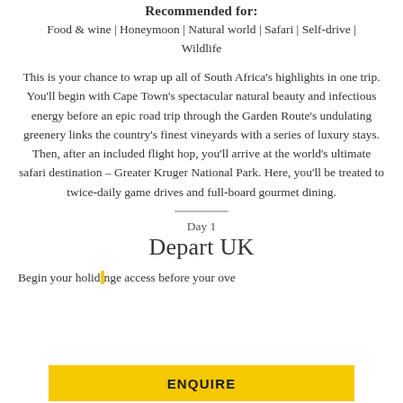Recommended for:
Food & wine | Honeymoon | Natural world | Safari | Self-drive | Wildlife
This is your chance to wrap up all of South Africa's highlights in one trip. You'll begin with Cape Town's spectacular natural beauty and infectious energy before an epic road trip through the Garden Route's undulating greenery links the country's finest vineyards with a series of luxury stays. Then, after an included flight hop, you'll arrive at the world's ultimate safari destination – Greater Kruger National Park. Here, you'll be treated to twice-daily game drives and full-board gourmet dining.
Day 1
Depart UK
Begin your holi… nge access before your ove…